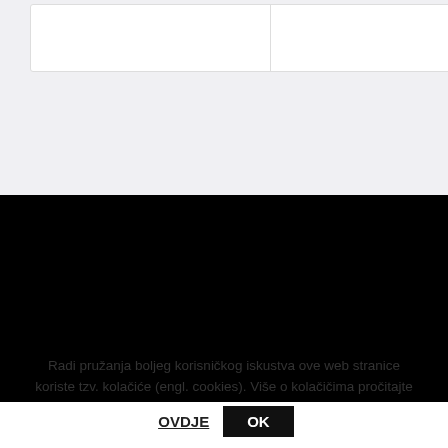[Figure (screenshot): Top section with white boxes on light grey background representing a web page header area]
[Figure (screenshot): Black footer navigation area with rounded rectangle containing Croatian navigation links: O nama, Servis, Opći uvjeti poslovanja, Zaštita osobnih podataka, O kolačićima]
O nama
Servis
Opći uvjeti poslovanja
Zaštita osobnih podataka
O kolačićima
Radi pružanja boljeg korisničkog iskustva ove web stranice koriste tzv. kolačiće (engl. cookies). Više o kolačićima pročitajte
OVDJE   OK